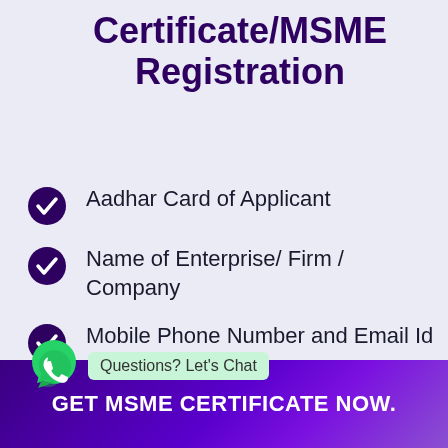Certificate/MSME Registration
Aadhar Card of Applicant
Name of Enterprise/ Firm / Company
Mobile Phone Number and Email Id of Applicant
Address proof of Enterprise / Firm /
Questions? Let's Chat
GET MSME CERTIFICATE NOW.